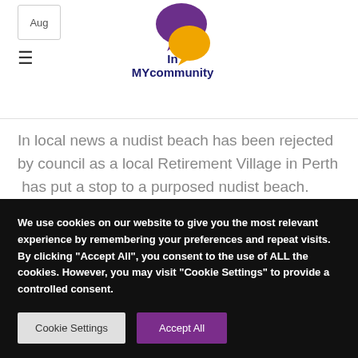In MYcommunity
In local news a nudist beach has been rejected by council as a local Retirement Village in Perth  has put a stop to a purposed nudist beach. Despite common belief that the
We use cookies on our website to give you the most relevant experience by remembering your preferences and repeat visits. By clicking "Accept All", you consent to the use of ALL the cookies. However, you may visit "Cookie Settings" to provide a controlled consent.